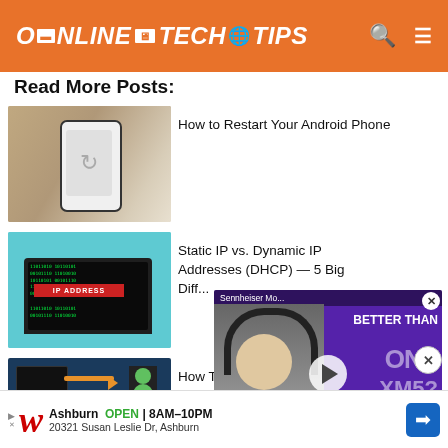ONLINE TECH TIPS
Read More Posts:
[Figure (screenshot): Thumbnail of a hand holding an Android phone with a restart/reload icon on screen]
How to Restart Your Android Phone
[Figure (screenshot): Thumbnail of a laptop with IP ADDRESS text overlay on a teal background]
Static IP vs. Dynamic IP Addresses (DHCP) — 5 Big Diff...
[Figure (screenshot): Thumbnail showing ADB Wirelessly with Android icon and orange arrows on dark blue background]
How To... Android...
[Figure (screenshot): Video overlay for Sennheiser Mo... BETTER THAN ONY XM5? with person wearing headphones on purple background]
ADVERTISEMENT
...iors
[Figure (screenshot): Walgreens advertisement — Ashburn OPEN 8AM-10PM, 20321 Susan Leslie Dr, Ashburn]